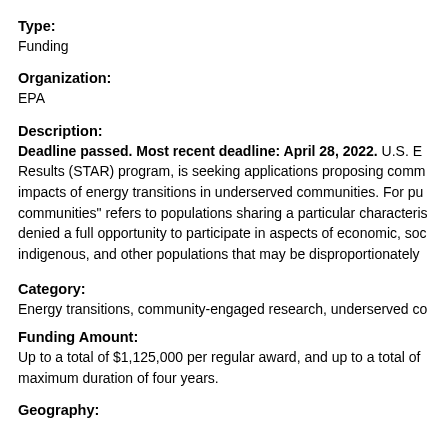Type:
Funding
Organization:
EPA
Description:
Deadline passed. Most recent deadline: April 28, 2022. U.S. E Results (STAR) program, is seeking applications proposing comm impacts of energy transitions in underserved communities. For pu communities" refers to populations sharing a particular characteris denied a full opportunity to participate in aspects of economic, soc indigenous, and other populations that may be disproportionately
Category:
Energy transitions, community-engaged research, underserved co
Funding Amount:
Up to a total of $1,125,000 per regular award, and up to a total of maximum duration of four years.
Geography: